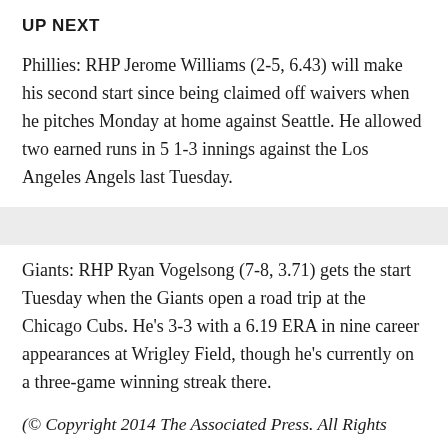UP NEXT
Phillies: RHP Jerome Williams (2-5, 6.43) will make his second start since being claimed off waivers when he pitches Monday at home against Seattle. He allowed two earned runs in 5 1-3 innings against the Los Angeles Angels last Tuesday.
Giants: RHP Ryan Vogelsong (7-8, 3.71) gets the start Tuesday when the Giants open a road trip at the Chicago Cubs. He's 3-3 with a 6.19 ERA in nine career appearances at Wrigley Field, though he's currently on a three-game winning streak there.
(© Copyright 2014 The Associated Press. All Rights